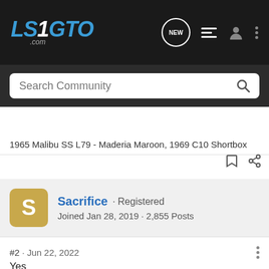LS1GTO.com
Search Community
1965 Malibu SS L79 - Maderia Maroon, 1969 C10 Shortbox
Sacrifice · Registered
Joined Jan 28, 2019 · 2,855 Posts
#2 · Jun 22, 2022
Yes